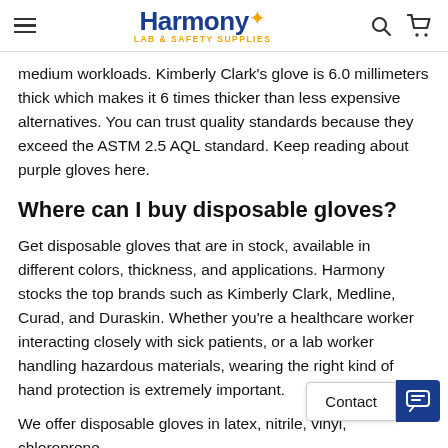Harmony LAB & SAFETY SUPPLIES
medium workloads. Kimberly Clark's glove is 6.0 millimeters thick which makes it 6 times thicker than less expensive alternatives. You can trust quality standards because they exceed the ASTM 2.5 AQL standard. Keep reading about purple gloves here.
Where can I buy disposable gloves?
Get disposable gloves that are in stock, available in different colors, thickness, and applications. Harmony stocks the top brands such as Kimberly Clark, Medline, Curad, and Duraskin. Whether you're a healthcare worker interacting closely with sick patients, or a lab worker handling hazardous materials, wearing the right kind of hand protection is extremely important.
We offer disposable gloves in latex, nitrile, vinyl, chloroprene